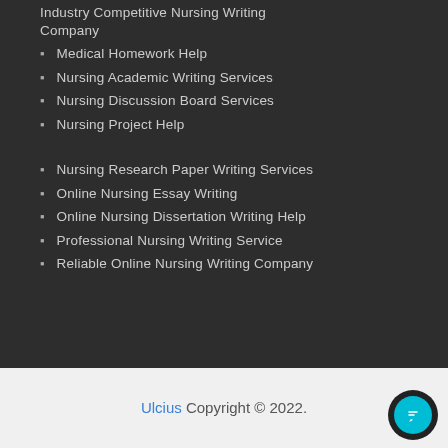Industry Competitive Nursing Writing Company
Medical Homework Help
Nursing Academic Writing Services
Nursing Discussion Board Services
Nursing Project Help
Nursing Research Paper Writing Services
Online Nursing Essay Writing
Online Nursing Dissertation Writing Help
Professional Nursing Writing Service
Reliable Online Nursing Writing Company
Ulcius Copyright © 2022.